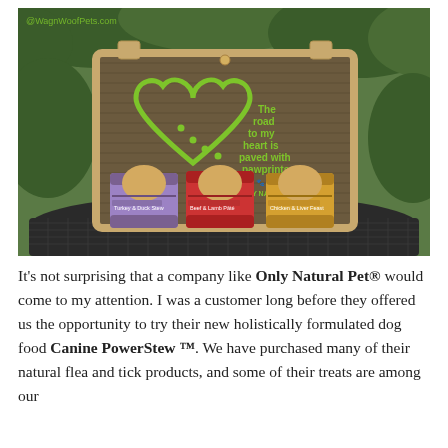[Figure (photo): Photo of three cans of Only Natural Pet dog food (purple, red, and yellow/orange labels) displayed in front of a brown burlap tote bag with a green heart and paw print design that reads 'The road to my heart is paved with pawprints' and the Only Natural Pet logo. Items are sitting on a dark metal lattice table outdoors with green foliage in the background. Watermark '@WagnWoofPets.com' in top left corner.]
It's not surprising that a company like Only Natural Pet® would come to my attention. I was a customer long before they offered us the opportunity to try their new holistically formulated dog food Canine PowerStew ™. We have purchased many of their natural flea and tick products, and some of their treats are among our